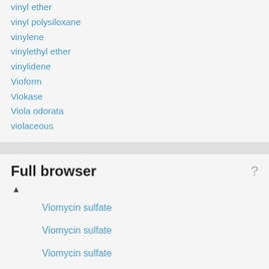vinyl ether
vinyl polysiloxane
vinylene
vinylethyl ether
vinylidene
Vioform
Viokase
Viola odorata
violaceous
Full browser
Viomycin sulfate
Viomycin sulfate
Viomycin sulfate
Viomycin sulfate
Vionnet, Madeleine
Vionville and Mars-La-Tour
VIOPP